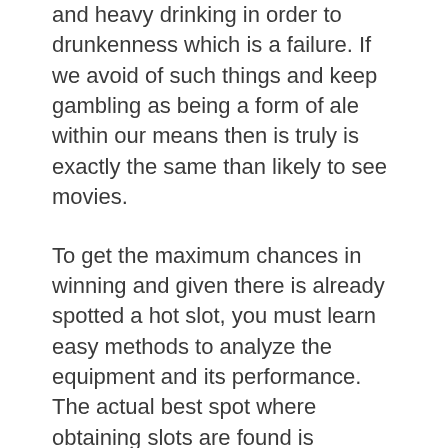and heavy drinking in order to drunkenness which is a failure. If we avoid of such things and keep gambling as being a form of ale within our means then is truly is exactly the same than likely to see movies.
To get the maximum chances in winning and given there is already spotted a hot slot, you must learn easy methods to analyze the equipment and its performance. The actual best spot where obtaining slots are found is inadequate. You also need to learn how much it costs you to play in that machine. You needn't be fooled with the price. Playing in cheaper machines is not a good way on the best way to win slots.
Although online slot machines have extremely benefits, you will still need to good strategies when playing so that you might win. By game as well as the right slot for you is also important. Just like in land-based machines, players should also identify which of the available